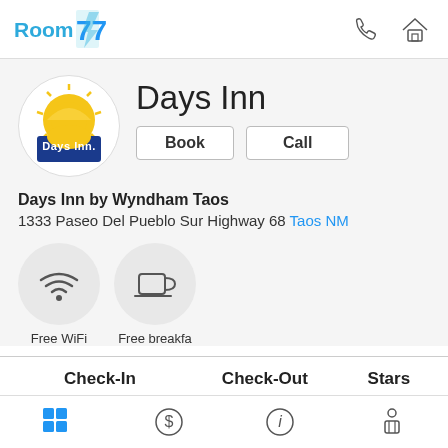[Figure (logo): Room 77 logo with stylized blue '77' lightning bolt shape]
[Figure (logo): Days Inn hotel brand logo — sun rising over blue banner with 'Days Inn' text]
Days Inn
Book | Call
Days Inn by Wyndham Taos
1333 Paseo Del Pueblo Sur Highway 68 Taos NM
[Figure (infographic): Amenity icons: Free WiFi (wifi signal icon in circle), Free breakfast (coffee cup icon in circle)]
Free WiFi   Free breakfast
| Check-In | Check-Out | Stars |
| --- | --- | --- |
| 3:00 PM - 5:30 AM | 11:00 AM | 2 |
[Figure (infographic): Bottom navigation bar icons: grid/rooms, dollar/pricing, info, map]